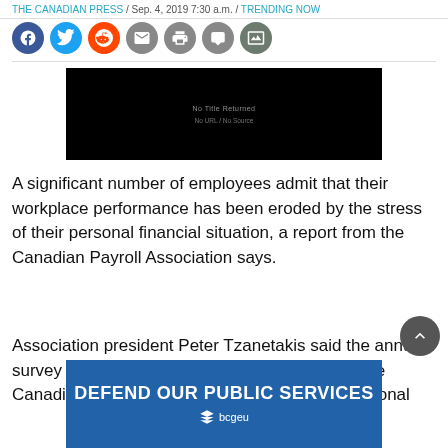THE CANADIAN PRESS / Sep. 4, 2019 7:30 a.m. / TRENDING NOW
[Figure (other): Social media share buttons: Facebook, Twitter, Reddit, Email, Print, Comment, Gallery]
[Figure (other): Black video embed placeholder with small text lines]
A significant number of employees admit that their workplace performance has been eroded by the stress of their personal financial situation, a report from the Canadian Payroll Association says.
Association president Peter Tzanetakis said the annual survey paid increased attention to how much time Canadian employees are distracted by their personal financial
[Figure (other): Advertisement banner: DEFEND OUR PUBLIC SERVICES with bcgeu logo, blue background]